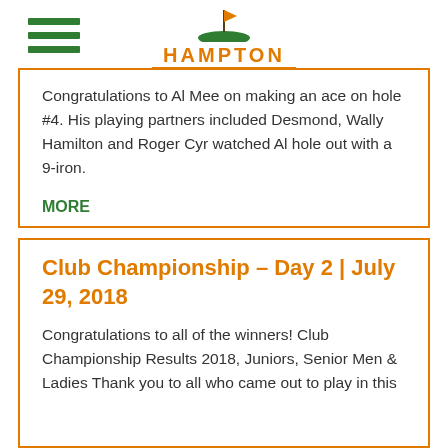[Figure (logo): Hampton Golf Club logo with hamburger menu icon on left, golf club/flag icon above text, HAMPTON in orange bold letters, GOLF EST 1871 CLUB subtitle]
Congratulations to Al Mee on making an ace on hole #4. His playing partners included Desmond, Wally Hamilton and Roger Cyr watched Al hole out with a 9-iron.
MORE
Club Championship – Day 2 | July 29, 2018
Congratulations to all of the winners! Club Championship Results 2018, Juniors, Senior Men & Ladies Thank you to all who came out to play in this